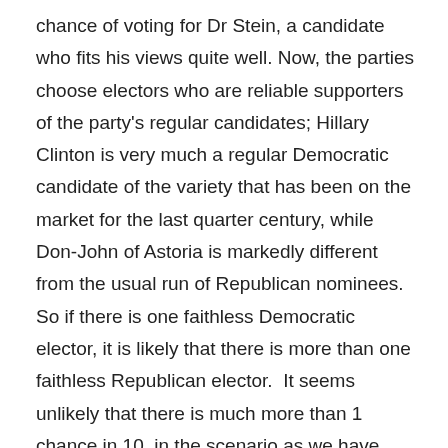chance of voting for Dr Stein, a candidate who fits his views quite well. Now, the parties choose electors who are reliable supporters of the party's regular candidates; Hillary Clinton is very much a regular Democratic candidate of the variety that has been on the market for the last quarter century, while Don-John of Astoria is markedly different from the usual run of Republican nominees.  So if there is one faithless Democratic elector, it is likely that there is more than one faithless Republican elector.  It seems unlikely that there is much more than 1 chance in 10, in the scenario as we have constructed it so far, that Mr Satiacum's vote would be sufficient to qualify Dr Stein as one of the top three Electoral Vote recipients, the group from among whom the US House of Representatives must choose the winner of an inclusive election. So that gets us to a 1/1000 chance that the